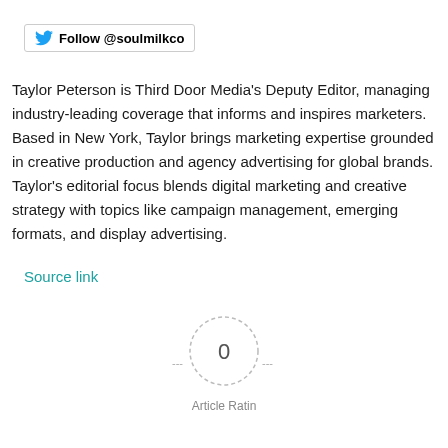[Figure (other): Twitter Follow button with bird icon and text 'Follow @soulmilkco']
Taylor Peterson is Third Door Media's Deputy Editor, managing industry-leading coverage that informs and inspires marketers. Based in New York, Taylor brings marketing expertise grounded in creative production and agency advertising for global brands. Taylor's editorial focus blends digital marketing and creative strategy with topics like campaign management, emerging formats, and display advertising.
Source link
[Figure (other): Circle rating widget showing 0 with dashed border and dashes on either side, labeled Article Rating]